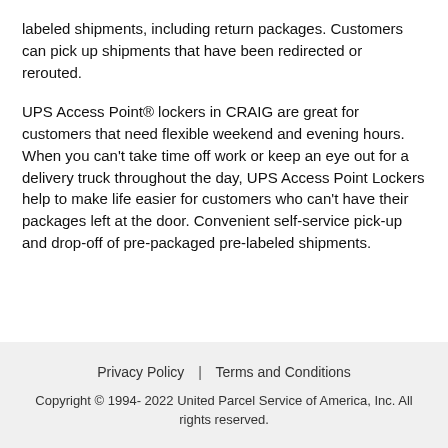labeled shipments, including return packages. Customers can pick up shipments that have been redirected or rerouted.
UPS Access Point® lockers in CRAIG are great for customers that need flexible weekend and evening hours. When you can't take time off work or keep an eye out for a delivery truck throughout the day, UPS Access Point Lockers help to make life easier for customers who can't have their packages left at the door. Convenient self-service pick-up and drop-off of pre-packaged pre-labeled shipments.
Privacy Policy | Terms and Conditions
Copyright © 1994- 2022 United Parcel Service of America, Inc. All rights reserved.